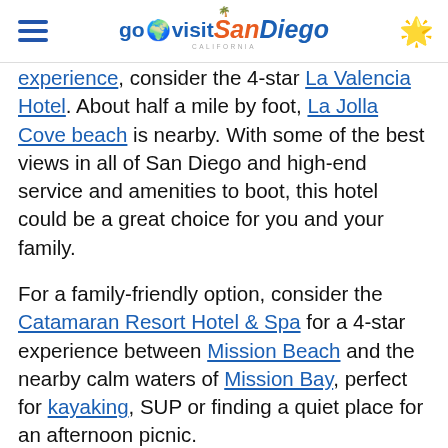go visit San Diego
experience, consider the 4-star La Valencia Hotel. About half a mile by foot, La Jolla Cove beach is nearby. With some of the best views in all of San Diego and high-end service and amenities to boot, this hotel could be a great choice for you and your family.
For a family-friendly option, consider the Catamaran Resort Hotel & Spa for a 4-star experience between Mission Beach and the nearby calm waters of Mission Bay, perfect for kayaking, SUP or finding a quiet place for an afternoon picnic.